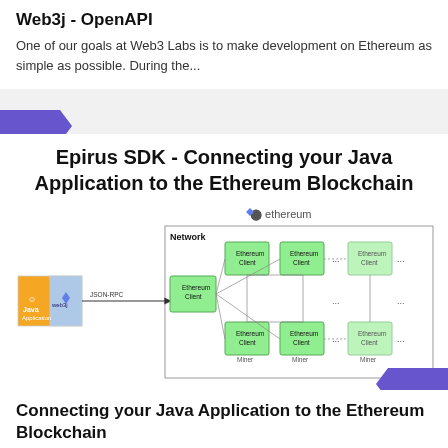Web3j - OpenAPI
One of our goals at Web3 Labs is to make development on Ethereum as simple as possible. During the...
[Figure (other): Purple/blue parallelogram shape used as a decorative divider tag (left side)]
Epirus SDK - Connecting your Java Application to the Ethereum Blockchain
[Figure (network-graph): Diagram showing a Java Application connected via JSON-RPC through web3j to an Ethereum network of interconnected Ethereum Client nodes with Miner nodes, with the Ethereum logo above the network box.]
[Figure (other): Purple/blue parallelogram shape used as a decorative divider tag (right side)]
Connecting your Java Application to the Ethereum Blockchain
As a Java developer, it can be a pain to build a system that interacts with Ethereum...